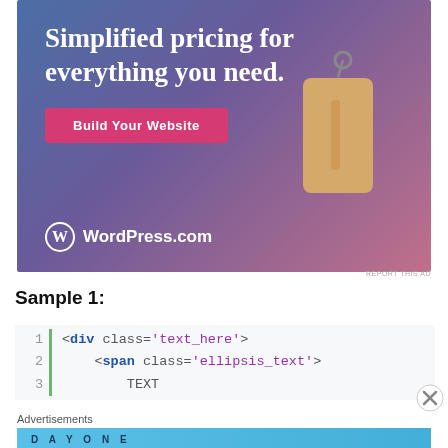[Figure (illustration): WordPress.com advertisement banner with blue-purple gradient background, text 'Simplified pricing for everything you need.', a pink 'Build Your Website' button, a price tag illustration, and WordPress.com logo at bottom left.]
Sample 1:
[Figure (screenshot): Code block showing 3 lines: line 1: <div class='text_here'>, line 2: <span class='ellipsis_text'>, line 3: TEXT]
Advertisements
[Figure (illustration): Day One journaling app advertisement with light blue background, app icons, and text 'The only journaling app you'll ever need.']